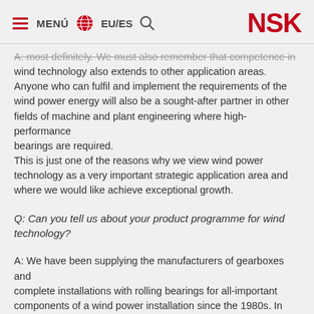MENÚ  EU/ES  NSK
A: most definitely. We must also remember that competence in wind technology also extends to other application areas. Anyone who can fulfil and implement the requirements of the wind power energy will also be a sought-after partner in other fields of machine and plant engineering where high-performance bearings are required.
This is just one of the reasons why we view wind power technology as a very important strategic application area and where we would like achieve exceptional growth.
Q: Can you tell us about your product programme for wind technology?
A: We have been supplying the manufacturers of gearboxes and complete installations with rolling bearings for all-important components of a wind power installation since the 1980s. In addition to the bearings in the main gearbox, there are the rotor shaft bearings, yaw and pitch gearbox bearings, generator